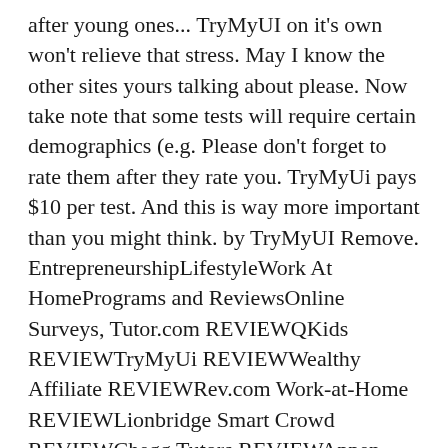after young ones... TryMyUI on it's own won't relieve that stress. May I know the other sites yours talking about please. Now take note that some tests will require certain demographics (e.g. Please don't forget to rate them after they rate you. TryMyUi pays $10 per test. And this is way more important than you might think. by TryMyUI Remove. EntrepreneurshipLifestyleWork At HomePrograms and ReviewsOnline Surveys, Tutor.com REVIEWQKids REVIEWTryMyUi REVIEWWealthy Affiliate REVIEWRev.com Work-at-Home REVIEWLionbridge Smart Crowd REVIEWChegg Tutors REVIEWAppen Work-at-Home REVIEWCambly Tutors REVIEWUpWork REVIEWFreelancer REVIEWVIPKid REVIEWBTCClicks REVIEWiJelena REVIEWBean + Fields